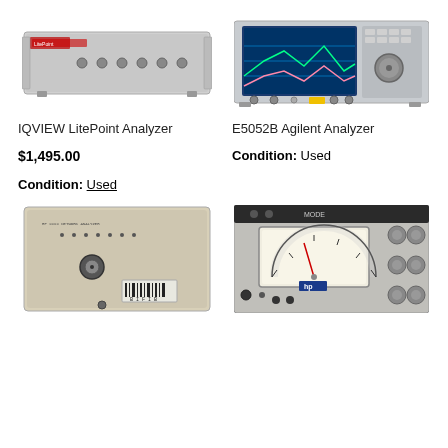[Figure (photo): IQVIEW LitePoint Analyzer - a rack-mount instrument with silver/grey chassis and front panel connectors]
[Figure (photo): E5052B Agilent Analyzer - a bench-top instrument with large color LCD display showing spectrum analysis and front panel knobs and buttons]
IQVIEW LitePoint Analyzer
E5052B Agilent Analyzer
$1,495.00
Condition: Used
Condition: Used
[Figure (photo): A white/beige box instrument with BNC connector on front and a barcode label sticker]
[Figure (photo): A vintage grey bench instrument with analog meter display and multiple large rotary knobs]